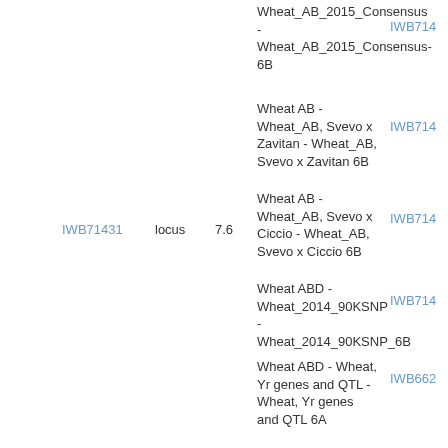| Marker | Type | Value | Map | ID |
| --- | --- | --- | --- | --- |
| IWB71431 | locus | 7.6 | Wheat_AB_2015_Consensus - Wheat_AB_2015_Consensus-6B | IWB714... |
|  |  |  | Wheat AB - Wheat_AB, Svevo x Zavitan - Wheat_AB, Svevo x Zavitan 6B | IWB714... |
|  |  |  | Wheat AB - Wheat_AB, Svevo x Ciccio - Wheat_AB, Svevo x Ciccio 6B | IWB714... |
|  |  |  | Wheat ABD - Wheat_2014_90KSNP - Wheat_2014_90KSNP_6B | IWB714... |
|  |  |  | Wheat ABD - Wheat, Yr genes and QTL - Wheat, Yr genes and QTL 6A | IWB662... |
|  |  |  | Wheat ABD - Wheat, Axiom 2018, Consensus - Wheat-Axiom2018-Cons-2A | AX-947052... |
|  |  |  | Wheat AB - Wheat_AB, Svevo x Zavitan - Wheat_AB, Svevo x Zavitan 6B | IWB662... |
|  |  |  | Wheat AB - Wheat_AB_2015_Consensus - | IWB662... |